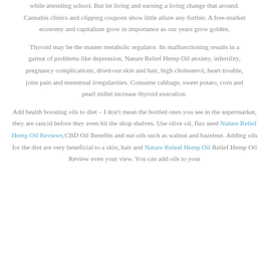while attending school. But let living and earning a living change that around. Cannabis clinics and clipping coupons show little allure any further. A free-market economy and capitalism grow in importance as our years grow golden.
Thyroid may be the master metabolic regulator. Its malfunctioning results in a gamut of problems like depression, Nature Relief Hemp Oil anxiety, infertility, pregnancy complications, dried-out skin and hair, high cholesterol, heart trouble, joint pain and menstrual irregularities. Consume cabbage, sweet potato, corn and pearl millet increase thyroid execution.
Add health boosting oils to diet – I don't mean the bottled ones you see in the supermarket, they are rancid before they even hit the shop shelves. Use olive oil, flax seed Nature Relief Hemp Oil Reviews, CBD Oil Benefits and nut oils such as walnut and hazelnut. Adding oils for the diet are very beneficial to a skin, hair and Nature Releaf Hemp Oil Relief Hemp Oil Review even your view. You can add oils to your